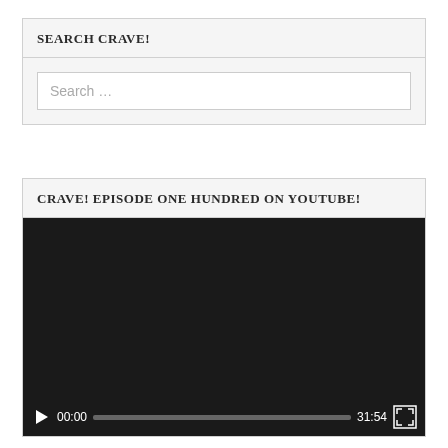SEARCH CRAVE!
[Figure (screenshot): Search input box with placeholder text 'Search ...']
CRAVE! EPISODE ONE HUNDRED ON YOUTUBE!
[Figure (screenshot): Embedded YouTube video player showing a black screen with playback controls: play button, time 00:00, progress bar, duration 31:54, and fullscreen button]